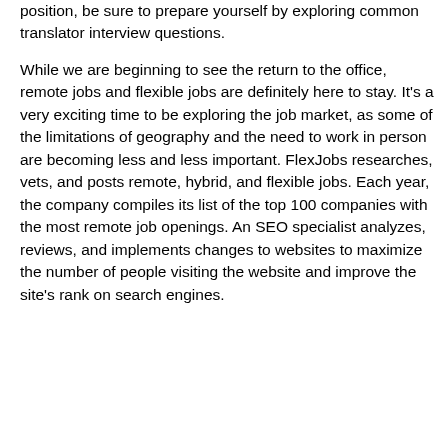position, be sure to prepare yourself by exploring common translator interview questions.
While we are beginning to see the return to the office, remote jobs and flexible jobs are definitely here to stay. It's a very exciting time to be exploring the job market, as some of the limitations of geography and the need to work in person are becoming less and less important. FlexJobs researches, vets, and posts remote, hybrid, and flexible jobs. Each year, the company compiles its list of the top 100 companies with the most remote job openings. An SEO specialist analyzes, reviews, and implements changes to websites to maximize the number of people visiting the website and improve the site's rank on search engines.